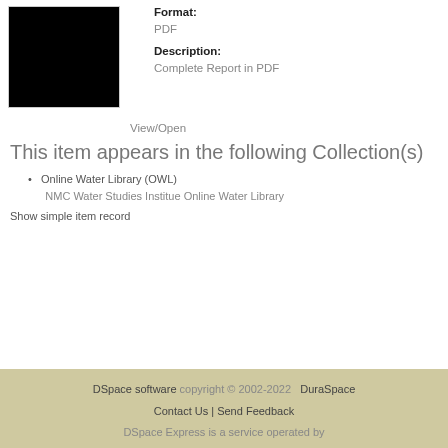[Figure (photo): Black thumbnail image of a document]
Format:
PDF
Description:
Complete Report in PDF
View/Open
This item appears in the following Collection(s)
Online Water Library (OWL)
NMC Water Studies Institue Online Water Library
Show simple item record
DSpace software copyright © 2002-2022 DuraSpace
Contact Us | Send Feedback
DSpace Express is a service operated by